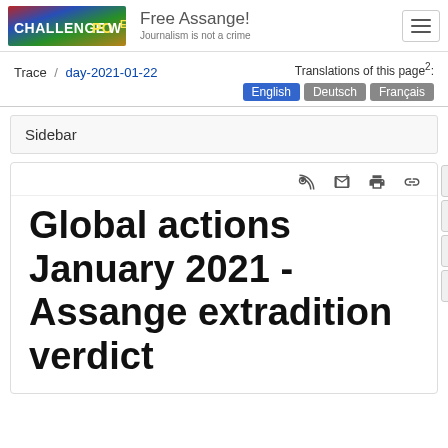CHALLENGEPOWER | Free Assange! Journalism is not a crime
Trace / day-2021-01-22
Translations of this page²: English | Deutsch | Français
Sidebar
Global actions January 2021 - Assange extradition verdict